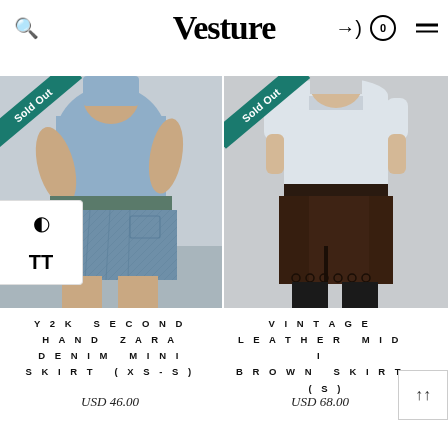Vesture
[Figure (photo): Denim mini skirt product photo with Sold Out banner]
[Figure (photo): Vintage leather midi brown skirt product photo with Sold Out banner]
Y2K SECOND HAND ZARA DENIM MINI SKIRT (XS-S)
USD 46.00
VINTAGE LEATHER MIDI BROWN SKIRT (S)
USD 68.00